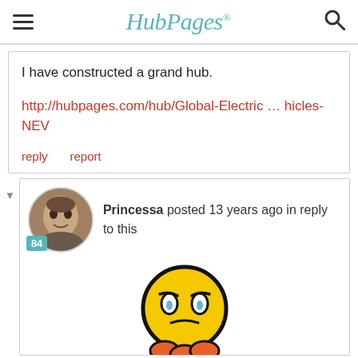HubPages
I have constructed a grand hub.
http://hubpages.com/hub/Global-Electric … hicles-NEV
reply   report
Princessa posted 13 years ago in reply to this
[Figure (illustration): Emoji face illustration - a round yellow face with a worried/sad expression, blue eyes, furrowed brow, and orange hair tufts at the bottom, with a thick black outline]